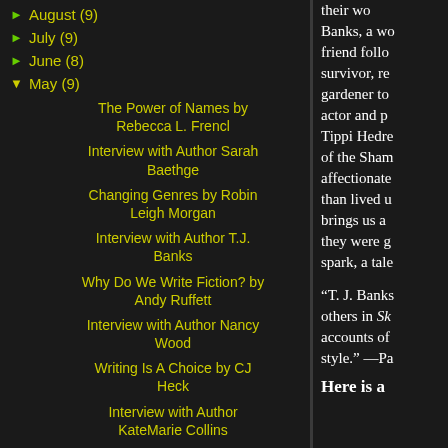► August (9)
► July (9)
► June (8)
▼ May (9)
The Power of Names by Rebecca L. Frencl
Interview with Author Sarah Baethge
Changing Genres by Robin Leigh Morgan
Interview with Author T.J. Banks
Why Do We Write Fiction? by Andy Ruffett
Interview with Author Nancy Wood
Writing Is A Choice by CJ Heck
Interview with Author KateMarie Collins
their wo Banks, a wo friend follo survivor, re gardener to actor and p Tippi Hedre of the Sham affectionate than lived u brings us a they were g spark, a tale
“T. J. Banks others in Sk accounts of style.” —Pa
Here is a